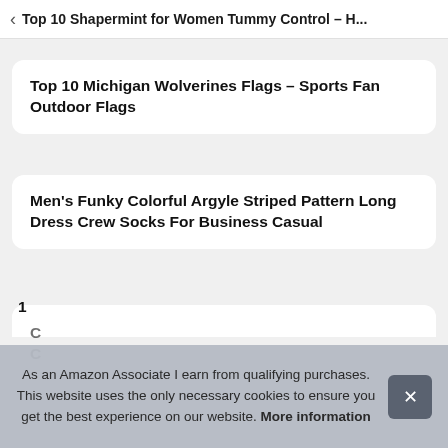Top 10 Shapermint for Women Tummy Control – H...
Top 10 Michigan Wolverines Flags – Sports Fan Outdoor Flags
Men's Funky Colorful Argyle Striped Pattern Long Dress Crew Socks For Business Casual
As an Amazon Associate I earn from qualifying purchases. This website uses the only necessary cookies to ensure you get the best experience on our website. More information